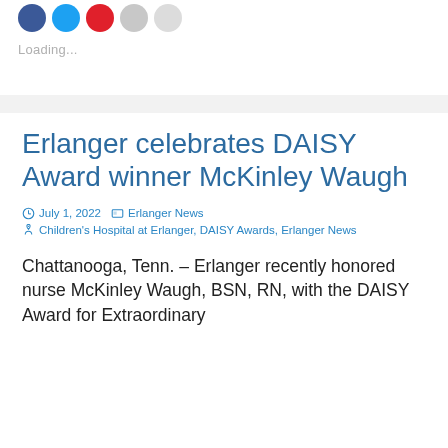[Figure (other): Social media sharing icon circles: blue (Facebook), light blue (Twitter), red (Pinterest), light gray, lighter gray]
Loading...
Erlanger celebrates DAISY Award winner McKinley Waugh
July 1, 2022   Erlanger News   Children's Hospital at Erlanger, DAISY Awards, Erlanger News
Chattanooga, Tenn. – Erlanger recently honored nurse McKinley Waugh, BSN, RN, with the DAISY Award for Extraordinary